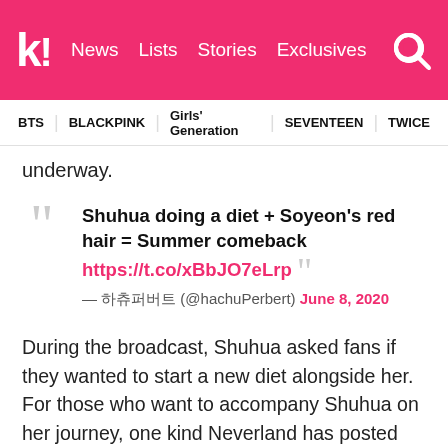k! News Lists Stories Exclusives
BTS BLACKPINK Girls' Generation SEVENTEEN TWICE
underway.
Shuhua doing a diet + Soyeon's red hair = Summer comeback https://t.co/xBbJO7eLrp — 하츄퍼버트 (@hachuPerbert) June 8, 2020
During the broadcast, Shuhua asked fans if they wanted to start a new diet alongside her. For those who want to accompany Shuhua on her journey, one kind Neverland has posted plenty of tips for fans on how to start a new eating plan